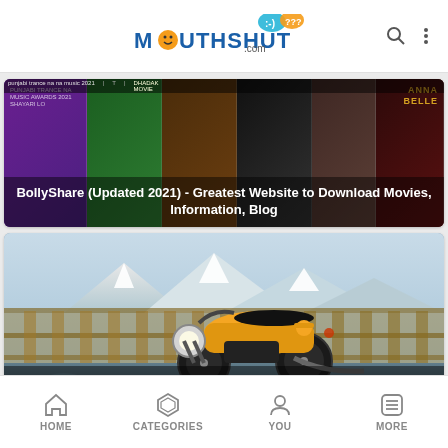MouthShut.com
[Figure (screenshot): Movie poster collage card with text overlay: BollyShare (Updated 2021) - Greatest Website to Download Movies, Information, Blog]
BollyShare (Updated 2021) - Greatest Website to Download Movies, Information, Blog
[Figure (photo): Motorcycle (black and yellow classic bike) parked in mountainous snowy landscape with wooden fence. Card with overlay text: Top 10 Bike Review Websites in India]
Top 10 Bike Review Websites in India
[Figure (photo): Partial face of a man with dark hair, greenery background]
HOME   CATEGORIES   YOU   MORE